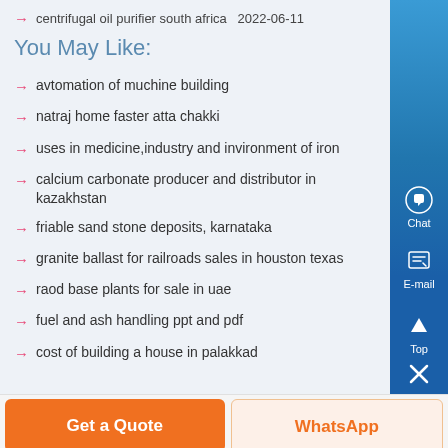centrifugal oil purifier south africa  2022-06-11
You May Like:
avtomation of muchine building
natraj home faster atta chakki
uses in medicine,industry and invironment of iron
calcium carbonate producer and distributor in kazakhstan
friable sand stone deposits, karnataka
granite ballast for railroads sales in houston texas
raod base plants for sale in uae
fuel and ash handling ppt and pdf
cost of building a house in palakkad
Get a Quote
WhatsApp